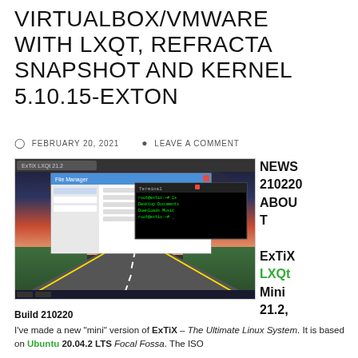VIRTUALBOX/VMWARE WITH LXQT, REFRACTA SNAPSHOT AND KERNEL 5.10.15-EXTON
FEBRUARY 20, 2021   LEAVE A COMMENT
[Figure (screenshot): Screenshot of ExTiX LXQt desktop with file manager and terminal windows open, showing a highway road background]
NEWS 210220 ABOUT ExTiX LXQt Mini 21.2,
Build 210220
I've made a new "mini" version of ExTiX – The Ultimate Linux System. It is based on Ubuntu 20.04.2 LTS Focal Fossa. The ISO